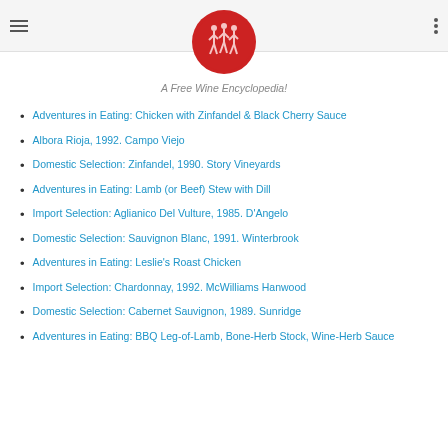[Figure (logo): Red circle logo with white silhouette figures of people walking, wine encyclopedia website logo]
A Free Wine Encyclopedia!
Adventures in Eating: Chicken with Zinfandel & Black Cherry Sauce
Albora Rioja, 1992. Campo Viejo
Domestic Selection: Zinfandel, 1990. Story Vineyards
Adventures in Eating: Lamb (or Beef) Stew with Dill
Import Selection: Aglianico Del Vulture, 1985. D'Angelo
Domestic Selection: Sauvignon Blanc, 1991. Winterbrook
Adventures in Eating: Leslie's Roast Chicken
Import Selection: Chardonnay, 1992. McWilliams Hanwood
Domestic Selection: Cabernet Sauvignon, 1989. Sunridge
Adventures in Eating: BBQ Leg-of-Lamb, Bone-Herb Stock, Wine-Herb Sauce